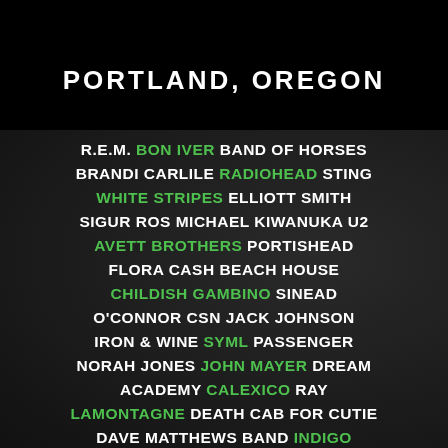PORTLAND, OREGON
R.E.M. BON IVER BAND OF HORSES BRANDI CARLILE RADIOHEAD STING WHITE STRIPES ELLIOTT SMITH SIGUR ROS MICHAEL KIWANUKA U2 AVETT BROTHERS PORTISHEAD FLORA CASH BEACH HOUSE CHILDISH GAMBINO SINEAD O'CONNOR CSN JACK JOHNSON IRON & WINE SYML PASSENGER NORAH JONES JOHN MAYER DREAM ACADEMY CALEXICO RAY LAMONTAGNE DEATH CAB FOR CUTIE DAVE MATTHEWS BAND INDIGO GIRLS DAVID GRAY FLEET FOXES BOY & BEAR BRIGHT EYES LANA DEL REY HISS GOLDEN MESSENGER JAMES BLAKE KALEO LORD HURON XX BORNS HAIM PHOSPHORESCENT COLDPLAY SPOON DECEMBERISTS HEAD & THE HEART LUMINEERS